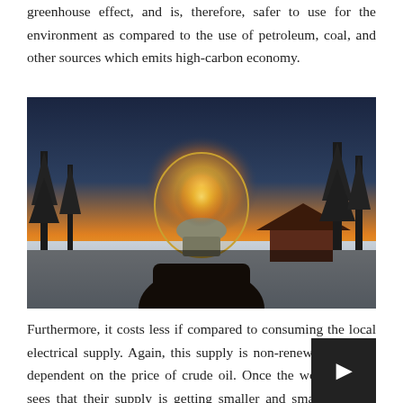greenhouse effect, and is, therefore, safer to use for the environment as compared to the use of petroleum, coal, and other sources which emits high-carbon economy.
[Figure (photo): A hand holding a lit incandescent light bulb up against a golden sunset sky with snow on the ground and trees and a cabin in the background.]
Furthermore, it costs less if compared to consuming the local electrical supply. Again, this supply is non-renewable and is dependent on the price of crude oil. Once the world market sees that their supply is getting smaller and smaller by th... they will jack up the price and in return will lead to soaring